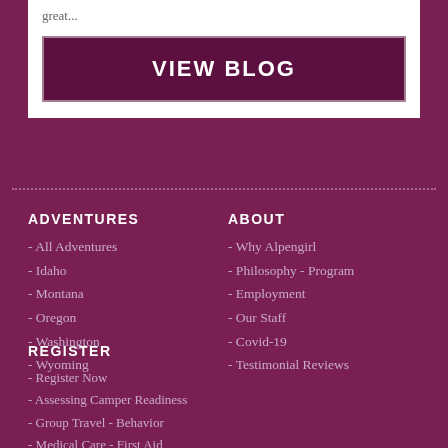great...
VIEW BLOG
ADVENTURES
ABOUT
- All Adventures
- Idaho
- Montana
- Oregon
- Washington
- Wyoming
- Why Alpengirl
- Philosophy - Program
- Employment
- Our Staff
- Covid-19
- Testimonial Reviews
REGISTER
- Register Now
- Assessing Camper Readiness
- Group Travel - Behavior
- Medical Care - First Aid
- Safety - Accreditation